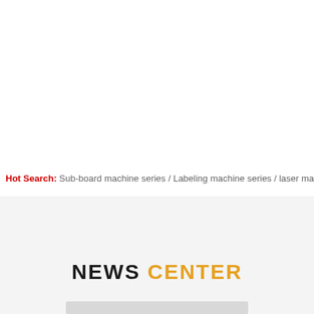Hot Search: Sub-board machine series / Labeling machine series / laser marking...
NEWS CENTER